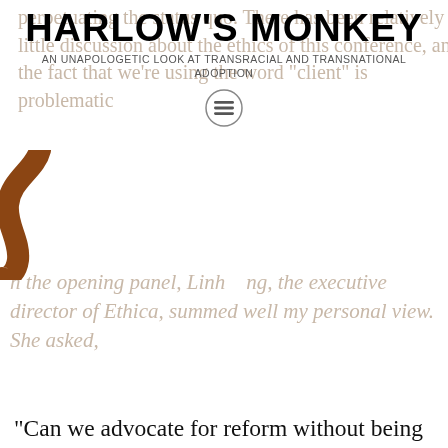HARLOW'S MONKEY
AN UNAPOLOGETIC LOOK AT TRANSRACIAL AND TRANSNATIONAL ADOPTION
perpetuating the status quo. There has been relatively little discussion about the ethics of this conference, and the fact that we're using the word "client" is problematic
n the opening panel, Linh ng, the executive director of Ethica, summed well my personal view. She asked,
"Can we advocate for reform without being seen as anti-adoption?" For it seems that anyone who critiques adoption is summarily discounted as being "anti-adoption" and dismissed. I have stated it before and will state it again. What is often considered best practice in one decade we can look at in hindsight and say that we failed. We failed kids, we failed families (of origin and adoptive) and we failed communities. We must critique our current practices and not wait for the next generation to clean up our messes. As Linh put it, "unethical practices are the greatest threat to the